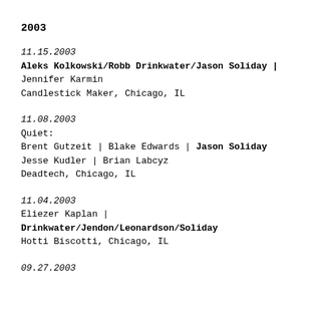2003
11.15.2003
Aleks Kolkowski/Robb Drinkwater/Jason Soliday |
Jennifer Karmin
Candlestick Maker, Chicago, IL
11.08.2003
Quiet:
Brent Gutzeit | Blake Edwards | Jason Soliday
Jesse Kudler | Brian Labcyz
Deadtech, Chicago, IL
11.04.2003
Eliezer Kaplan |
Drinkwater/Jendon/Leonardson/Soliday
Hotti Biscotti, Chicago, IL
09.27.2003